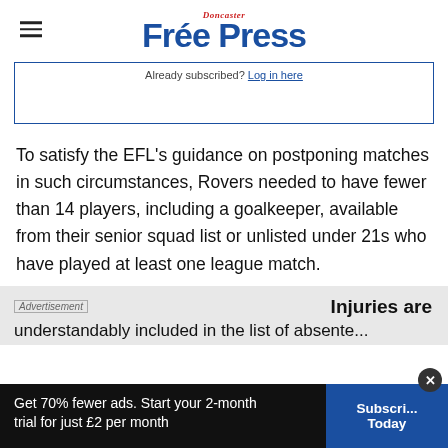Doncaster Free Press
Already subscribed? Log in here
To satisfy the EFL’s guidance on postponing matches in such circumstances, Rovers needed to have fewer than 14 players, including a goalkeeper, available from their senior squad list or unlisted under 21s who have played at least one league match.
Advertisement
Injuries are understandably included in the list of absente...
Get 70% fewer ads. Start your 2-month trial for just £2 per month
Subscribe Today